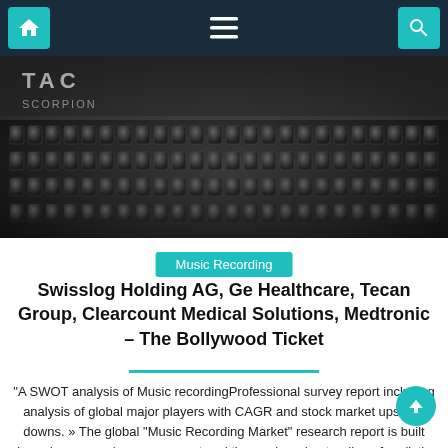Navigation bar with home, menu, and search icons
[Figure (photo): Black and white photo of a professional audio mixing console, showing rows of knobs and faders with 'TAC Scorpion' branding visible in the upper left]
Music Recording
Swisslog Holding AG, Ge Healthcare, Tecan Group, Clearcount Medical Solutions, Medtronic – The Bollywood Ticket
“A SWOT analysis of Music recordingProfessional survey report including analysis of global major players with CAGR and stock market ups and downs. » The global “Music Recording Market” research report is built based on a concise assessment and thorough understanding of realistic data of the global Music Recording Market. The data collected